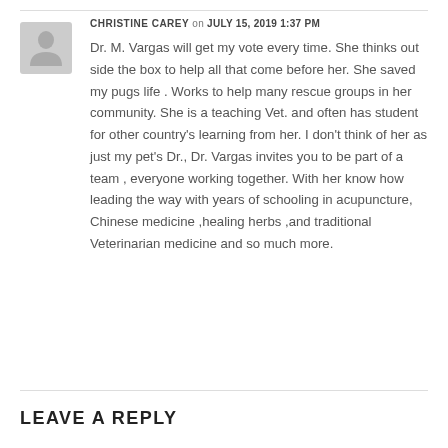[Figure (illustration): Generic user avatar icon — gray silhouette of a person on a light gray square background]
CHRISTINE CAREY on JULY 15, 2019 1:37 PM
Dr. M. Vargas will get my vote every time. She thinks out side the box to help all that come before her. She saved my pugs life . Works to help many rescue groups in her community. She is a teaching Vet. and often has student for other country's learning from her. I don't think of her as just my pet's Dr., Dr. Vargas invites you to be part of a team , everyone working together. With her know how leading the way with years of schooling in acupuncture, Chinese medicine ,healing herbs ,and traditional Veterinarian medicine and so much more.
LEAVE A REPLY